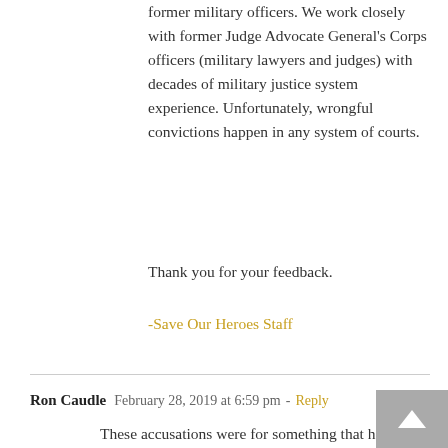former military officers. We work closely with former Judge Advocate General's Corps officers (military lawyers and judges) with decades of military justice system experience. Unfortunately, wrongful convictions happen in any system of courts.
Thank you for your feedback.
-Save Our Heroes Staff
Ron Caudle   February 28, 2019 at 6:59 pm - Reply
These accusations were for something that happened in High School and early College when he was obviously not yet in the military. I don't think the UCMJ would be applicable if he later joined the military and then was accused of something that occurred previous to his enlistment.